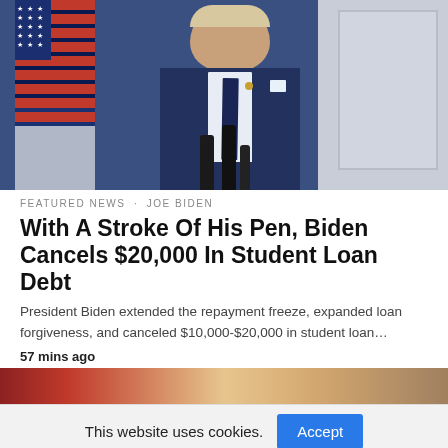[Figure (photo): Photo of a person in a dark blue suit with white shirt and tie, standing at a podium with microphones, American flag visible in the background]
FEATURED NEWS . JOE BIDEN
With A Stroke Of His Pen, Biden Cancels $20,000 In Student Loan Debt
President Biden extended the repayment freeze, expanded loan forgiveness, and canceled $10,000-$20,000 in student loan…
57 mins ago
[Figure (photo): Partial view of a second news article image showing people in traditional clothing]
This website uses cookies.
[Figure (infographic): Social media share buttons bar: Twitter, Gmail, Pinterest, LinkedIn, WhatsApp, Line]